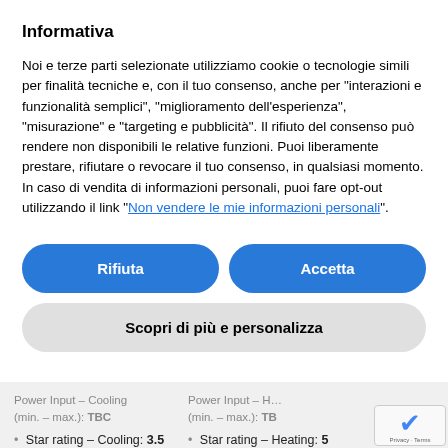Informativa
Noi e terze parti selezionate utilizziamo cookie o tecnologie simili per finalità tecniche e, con il tuo consenso, anche per “interazioni e funzionalità semplici”, “miglioramento dell’esperienza”, “misurazione” e “targeting e pubblicità”. Il rifiuto del consenso può rendere non disponibili le relative funzioni. Puoi liberamente prestare, rifiutare o revocare il tuo consenso, in qualsiasi momento.
In caso di vendita di informazioni personali, puoi fare opt-out utilizzando il link “Non vendere le mie informazioni personali”.
Rifiuta
Accetta
Scopri di più e personalizza
Power Input – Cooling (min. – max.): TBC
Power Input – H... (min. – max.): TB...
Star rating – Cooling: 3.5
Star rating – Heating: 5